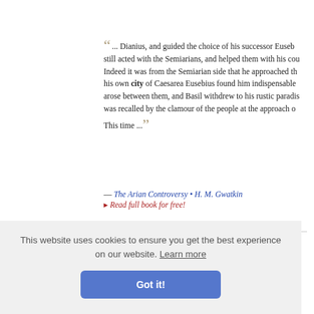"... Dianius, and guided the choice of his successor Euseb... still acted with the Semiarians, and helped them with his cou... Indeed it was from the Semiarian side that he approached th... his own city of Caesarea Eusebius found him indispensable... arose between them, and Basil withdrew to his rustic paradis... was recalled by the clamour of the people at the approach o... This time ..."
— The Arian Controversy • H. M. Gwatkin
▸ Read full book for free!
"... three years ago had settled there on account of busine... as for various family reasons. Among the population who liv... [and in addi... him man... tive inhabi... e the differ... ne rejection..."
— Orzeszko...
This website uses cookies to ensure you get the best experience on our website. Learn more
Got it!